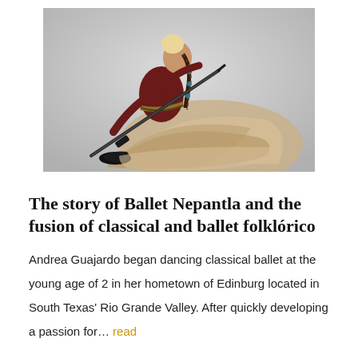[Figure (photo): A female dancer in traditional Mexican ballet folklórico costume — a large ruffled skirt in cream/tan tones and a dark red top — seated on the floor holding a rifle prop, with a braided hair accessory, photographed against a light gray studio background.]
The story of Ballet Nepantla and the fusion of classical and ballet folklórico
Andrea Guajardo began dancing classical ballet at the young age of 2 in her hometown of Edinburg located in South Texas' Rio Grande Valley. After quickly developing a passion for… read